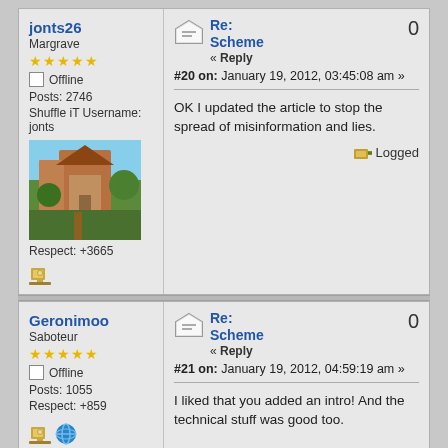jonts26
Margrave
Offline
Posts: 2746
Shuffle iT Username: jonts
Respect: +3665
Re: Scheme
« Reply
#20 on: January 19, 2012, 03:45:08 am »
OK I updated the article to stop the spread of misinformation and lies.
Logged
Geronimoo
Saboteur
Offline
Posts: 1055
Respect: +859
Re: Scheme
« Reply
#21 on: January 19, 2012, 04:59:19 am »
I liked that you added an intro! And the technical stuff was good too.

On the Jack discussion: Jack is always great! Early game